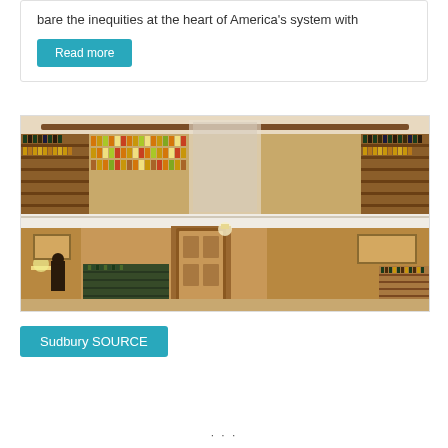bare the inequities at the heart of America’s system with
Read more
[Figure (photo): Interior of a two-story circular law library with wooden bookshelves filled with legal volumes, wrought iron railings on the upper level, wooden doors, warm lighting, and landscape paintings on the walls.]
Sudbury SOURCE